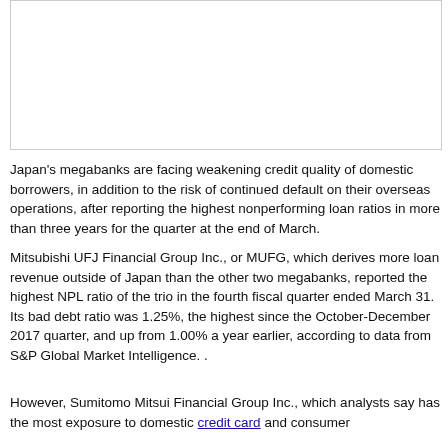[Figure (other): Empty white box with border, likely a placeholder for an image or chart.]
Japan's megabanks are facing weakening credit quality of domestic borrowers, in addition to the risk of continued default on their overseas operations, after reporting the highest nonperforming loan ratios in more than three years for the quarter at the end of March.
Mitsubishi UFJ Financial Group Inc., or MUFG, which derives more loan revenue outside of Japan than the other two megabanks, reported the highest NPL ratio of the trio in the fourth fiscal quarter ended March 31. Its bad debt ratio was 1.25%, the highest since the October-December 2017 quarter, and up from 1.00% a year earlier, according to data from S&P Global Market Intelligence. .
However, Sumitomo Mitsui Financial Group Inc., which analysts say has the most exposure to domestic credit card and consumer